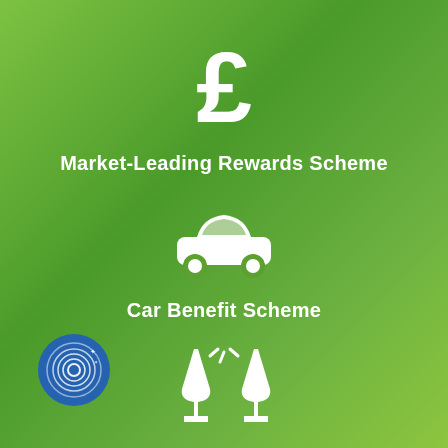[Figure (illustration): White pound sterling (£) symbol icon on green gradient background]
Market-Leading Rewards Scheme
[Figure (illustration): White car/automobile icon on green gradient background]
Car Benefit Scheme
[Figure (logo): Blue circular logo with fingerprint design and stars]
[Figure (illustration): White clinking wine glasses / celebration icon on green gradient background]